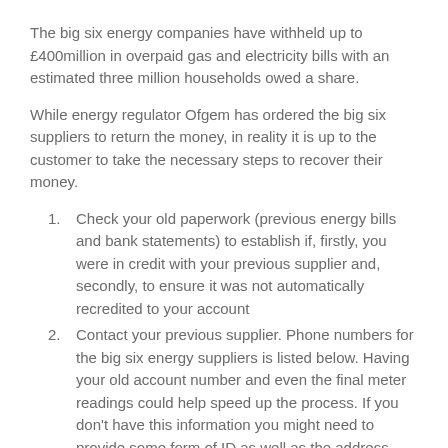The big six energy companies have withheld up to £400million in overpaid gas and electricity bills with an estimated three million households owed a share.
While energy regulator Ofgem has ordered the big six suppliers to return the money, in reality it is up to the customer to take the necessary steps to recover their money.
Check your old paperwork (previous energy bills and bank statements) to establish if, firstly, you were in credit with your previous supplier and, secondly, to ensure it was not automatically recredited to your account
Contact your previous supplier. Phone numbers for the big six energy suppliers is listed below. Having your old account number and even the final meter readings could help speed up the process. If you don't have this information you might need to provide some form of ID as well as the address where the energy was supplied.